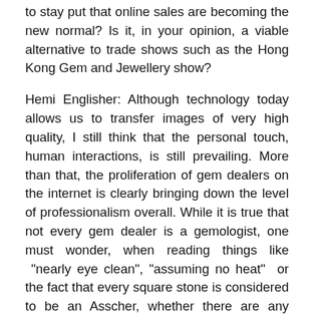to stay put that online sales are becoming the new normal? Is it, in your opinion, a viable alternative to trade shows such as the Hong Kong Gem and Jewellery show?
Hemi Englisher: Although technology today allows us to transfer images of very high quality, I still think that the personal touch, human interactions, is still prevailing. More than that, the proliferation of gem dealers on the internet is clearly bringing down the level of professionalism overall. While it is true that not every gem dealer is a gemologist, one must wonder, when reading things like “nearly eye clean”, “assuming no heat” or the fact that every square stone is considered to be an Asscher, whether there are any professional gem dealers left at all... That being said, whether internet and E-marketing is a threat to existing, established wholesalers, time will tell. Even as a school master of the old school, I really cannot say.